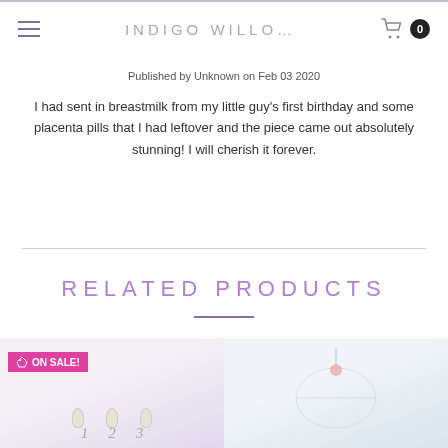INDIGO WILLO...
Published by Unknown on Feb 03 2020
I had sent in breastmilk from my little guy's first birthday and some placenta pills that I had leftover and the piece came out absolutely stunning! I will cherish it forever.
RELATED PRODUCTS
[Figure (photo): Product image with ON SALE badge showing breastmilk jewelry pendants labeled 1, 2, 3]
[Figure (photo): Product image showing jewelry piece on light blue background]